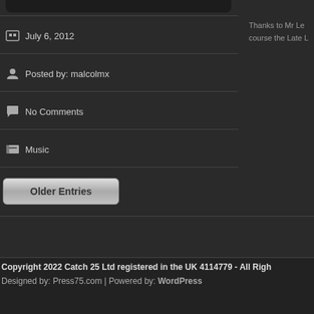[Figure (screenshot): Top of a dark-themed blog post widget, showing rounded dark box at top]
July 6, 2012
Posted by: malcolmx
No Comments
Music
[Figure (other): Older Entries navigation button, grey gradient pill-shaped button]
Thanks to Mr Le course the Late L
Copyright 2022 Catch 25 Ltd registered in the UK 4114779 - All Righ
Designed by: Press75.com | Powered by: WordPress